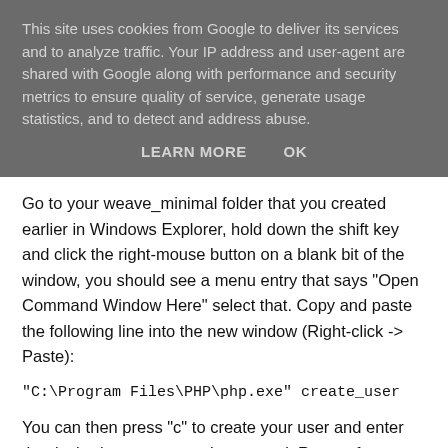This site uses cookies from Google to deliver its services and to analyze traffic. Your IP address and user-agent are shared with Google along with performance and security metrics to ensure quality of service, generate usage statistics, and to detect and address abuse.
LEARN MORE   OK
Go to your weave_minimal folder that you created earlier in Windows Explorer, hold down the shift key and click the right-mouse button on a blank bit of the window, you should see a menu entry that says "Open Command Window Here" select that. Copy and paste the following line into the new window (Right-click -> Paste):
"C:\Program Files\PHP\php.exe" create_user
You can then press "c" to create your user and enter the desired username and password. Repeat for any further user accounts that you want to set up on your server.
Setting up Weave in Firefox to sync with your